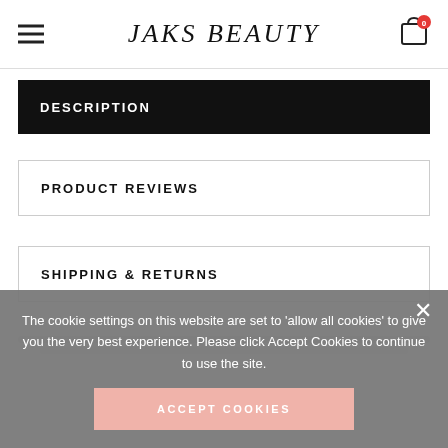[Figure (logo): JAKS BEAUTY logo with hamburger menu icon on left and shopping cart icon with 0 badge on right]
DESCRIPTION
PRODUCT REVIEWS
SHIPPING & RETURNS
The cookie settings on this website are set to 'allow all cookies' to give you the very best experience. Please click Accept Cookies to continue to use the site.
ACCEPT COOKIES